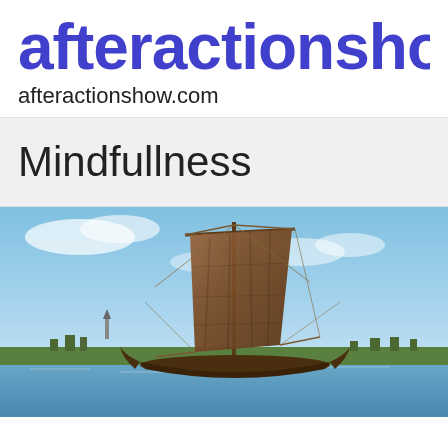afteractionshow.c
afteractionshow.com
Mindfullness
[Figure (photo): A traditional Viking longship with a large brown square sail on the water, with a blue sky and distant shoreline with trees and a church spire in the background.]